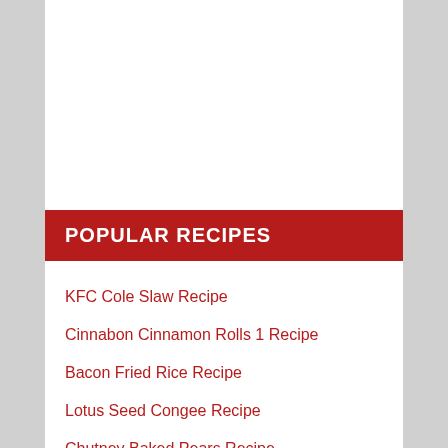POPULAR RECIPES
KFC Cole Slaw Recipe
Cinnabon Cinnamon Rolls 1 Recipe
Bacon Fried Rice Recipe
Lotus Seed Congee Recipe
Chutney Baked Pears Recipe
Mint Chutney Recipe